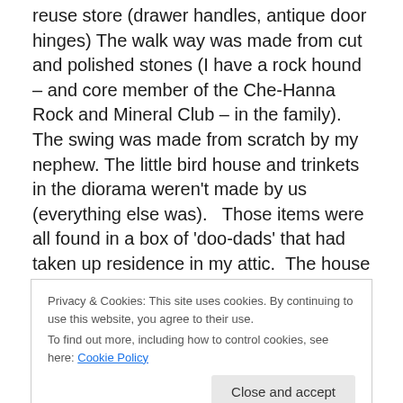reuse store (drawer handles, antique door hinges) The walk way was made from cut and polished stones (I have a rock hound – and core member of the Che-Hanna Rock and Mineral Club – in the family). The swing was made from scratch by my nephew. The little bird house and trinkets in the diorama weren't made by us (everything else was).   Those items were all found in a box of 'doo-dads' that had taken up residence in my attic.  The house was built from cardboard, then covered with the bark, moss, and pine cone parts. It took us a couple days of non-stop work to make the entire set up. The house
Privacy & Cookies: This site uses cookies. By continuing to use this website, you agree to their use.
To find out more, including how to control cookies, see here: Cookie Policy
The day it was all photographed, we had quite a light with